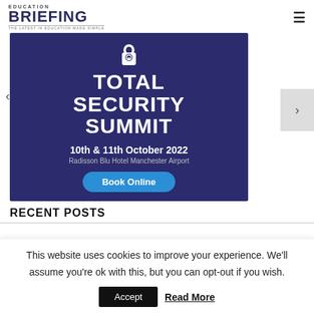EDUCATION BRIEFING — THE LATEST IN EDUCATION MADE SIMPLE
[Figure (infographic): Total Security Summit banner: dark blue background with padlock icon, text 'TOTAL SECURITY SUMMIT', date '10th & 11th October 2022', location 'Radisson Blu Hotel Manchester Airport', and a blue 'Book Online' button. Carousel navigation arrows on left and right.]
RECENT POSTS
This website uses cookies to improve your experience. We'll assume you're ok with this, but you can opt-out if you wish.
Accept   Read More